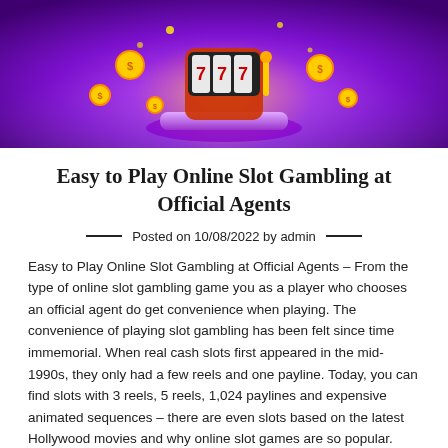[Figure (illustration): A colorful banner image with a purple and gold background showing a slot machine with coins flying out, glowing effects, and dollar signs on a purple pedestal with a spotlight effect.]
Easy to Play Online Slot Gambling at Official Agents
Posted on 10/08/2022 by admin
Easy to Play Online Slot Gambling at Official Agents – From the type of online slot gambling game you as a player who chooses an official agent do get convenience when playing. The convenience of playing slot gambling has been felt since time immemorial. When real cash slots first appeared in the mid-1990s, they only had a few reels and one payline. Today, you can find slots with 3 reels, 5 reels, 1,024 paylines and expensive animated sequences – there are even slots based on the latest Hollywood movies and why online slot games are so popular.